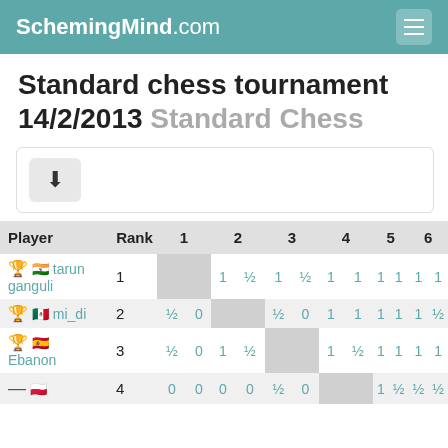SchemingMind.com
Standard chess tournament 14/2/2013 Standard Chess
| Player | Rank | 1 |  | 2 |  | 3 |  | 4 |  | 5 |  | 6 |  |
| --- | --- | --- | --- | --- | --- | --- | --- | --- | --- | --- | --- | --- | --- |
| 🏆 🇮🇳 tarun ganguli | 1 |  |  | 1 | ½ | 1 | ½ | 1 | 1 | 1 | 1 | 1 | 1 |
| 🥈 🇲🇽 mi_di | 2 | ½ | 0 |  |  | ½ | 0 | 1 | 1 | 1 | 1 | 1 | ½ |
| 🥉 🇪🇸 Ebanon | 3 | ½ | 0 | 1 | ½ |  |  | 1 | ½ | 1 | 1 | 1 | 1 |
| — 🇵🇱 (4) | 4 | 0 | 0 | 0 | 0 | ½ | 0 |  |  | 1 | ½ | ½ | ½ |